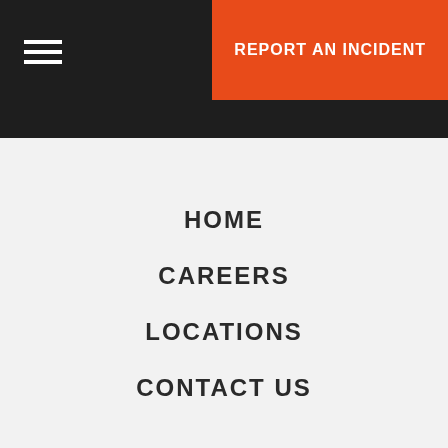REPORT AN INCIDENT
HOME
CAREERS
LOCATIONS
CONTACT US
© 2022 DirectDefense - All Rights Reserved
This website uses cookies to improve your experience. We'll assume you're ok with this, but you can opt-out if you wish. Privacy Policy
SETTINGS  ACCEPT